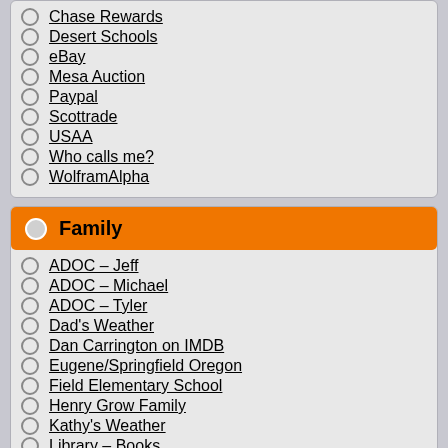Chase Rewards
Desert Schools
eBay
Mesa Auction
Paypal
Scottrade
USAA
Who calls me?
WolframAlpha
Family
ADOC – Jeff
ADOC – Michael
ADOC – Tyler
Dad's Weather
Dan Carrington on IMDB
Eugene/Springfield Oregon
Field Elementary School
Henry Grow Family
Kathy's Weather
Library – Books
Library – Movies
Lori's Blog
Mom's Weather
Mountain View High School
Nikki's Blog
Nikki's Weather
Our Weather
Pendleton Oregon